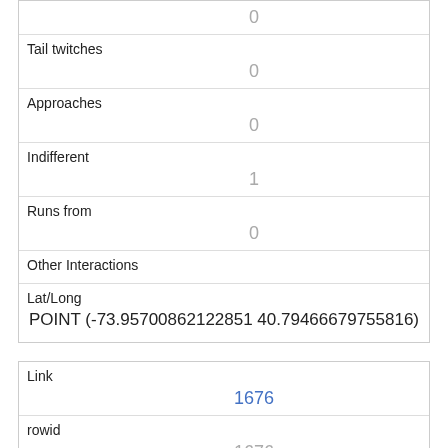| Tail twitches | 0 |
| Approaches | 0 |
| Indifferent | 1 |
| Runs from | 0 |
| Other Interactions |  |
| Lat/Long | POINT (-73.95700862122851 40.79466679755816) |
| Link | 1676 |
| rowid | 1676 |
| longitude | -73.9566686940197 |
| latitude |  |